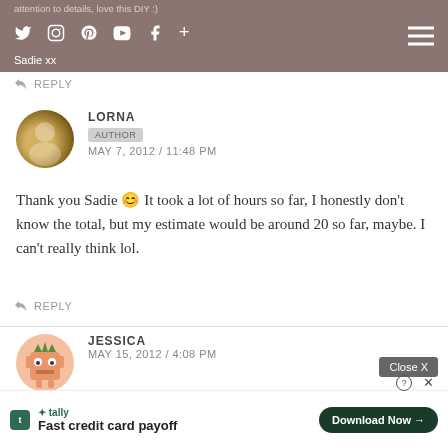attention to details, love this DIY :)
REPLY
LORNA
AUTHOR
MAY 7, 2012 / 11:48 PM
Thank you Sadie 🙂 It took a lot of hours so far, I honestly don't know the total, but my estimate would be around 20 so far, maybe. I can't really think lol.
REPLY
JESSICA
MAY 15, 2012 / 4:08 PM
Where ... so the only cr... ybe
[Figure (screenshot): Advertisement overlay: Tally app - Fast credit card payoff with Download Now button and Close X button]